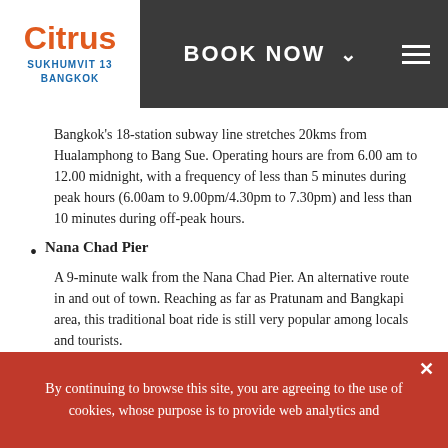Citrus Sukhumvit 13 Bangkok — BOOK NOW
Bangkok's 18-station subway line stretches 20kms from Hualamphong to Bang Sue. Operating hours are from 6.00 am to 12.00 midnight, with a frequency of less than 5 minutes during peak hours (6.00am to 9.00pm/4.30pm to 7.30pm) and less than 10 minutes during off-peak hours.
Nana Chad Pier — A 9-minute walk from the Nana Chad Pier. An alternative route in and out of town. Reaching as far as Pratunam and Bangkapi area, this traditional boat ride is still very popular among locals and tourists.
BANGKOK TAXIS
Metered air-conditioned taxis are available around-the-clock. The flag fall is 35 THB (for the first 2kms) and the fare climbs in 2 THB increments. Tipping is not required but rounding up is common. For trips to/from the airport, expressway toll fees will be borne by the passenger.
By continuing to browse this site, you are agreeing to the use of cookies, whose purpose is to provide web analytics and